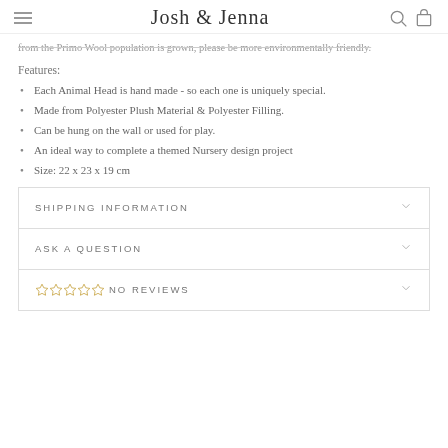Josh & Jenna
from the Primo Wool population is grown, please be more environmentally friendly.
Features:
Each Animal Head is hand made - so each one is uniquely special.
Made from Polyester Plush Material & Polyester Filling.
Can be hung on the wall or used for play.
An ideal way to complete a themed Nursery design project
Size: 22 x 23 x 19 cm
SHIPPING INFORMATION
ASK A QUESTION
NO REVIEWS